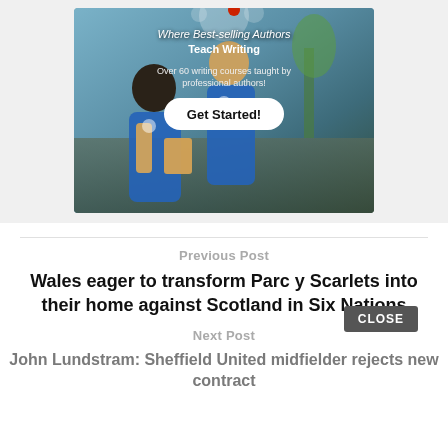[Figure (photo): Advertisement image showing two children in blue shirts looking at a book, with text overlay: 'Where Best-selling Authors Teach Writing', 'Over 60 writing courses taught by professional authors!', and a 'Get Started!' button.]
Previous Post
Wales eager to transform Parc y Scarlets into their home against Scotland in Six Nations
Next Post
CLOSE
John Lundstram: Sheffield United midfielder rejects new contract